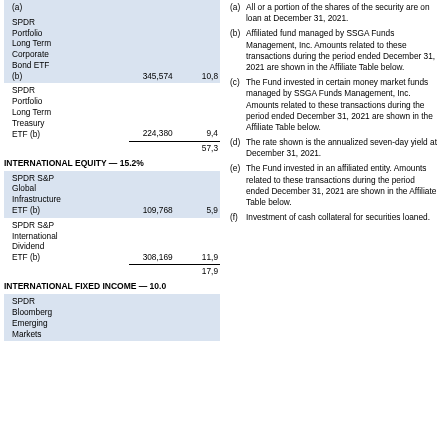| Security | Shares | Value |
| --- | --- | --- |
| SPDR Portfolio Long Term Corporate Bond ETF (b) | 345,574 | 10,8 |
| SPDR Portfolio Long Term Treasury ETF (b) | 224,380 | 9,4 |
|  |  | 57,3 |
| INTERNATIONAL EQUITY — 15.2% |  |  |
| SPDR S&P Global Infrastructure ETF (b) | 109,768 | 5,9 |
| SPDR S&P International Dividend ETF (b) | 308,169 | 11,9 |
|  |  | 17,9 |
| INTERNATIONAL FIXED INCOME — 10.0 |  |  |
| SPDR Bloomberg Emerging Markets |  |  |
(a) All or a portion of the shares of the security are on loan at December 31, 2021.
(b) Affiliated fund managed by SSGA Funds Management, Inc. Amounts related to these transactions during the period ended December 31, 2021 are shown in the Affiliate Table below.
(c) The Fund invested in certain money market funds managed by SSGA Funds Management, Inc. Amounts related to these transactions during the period ended December 31, 2021 are shown in the Affiliate Table below.
(d) The rate shown is the annualized seven-day yield at December 31, 2021.
(e) The Fund invested in an affiliated entity. Amounts related to these transactions during the period ended December 31, 2021 are shown in the Affiliate Table below.
(f) Investment of cash collateral for securities loaned.